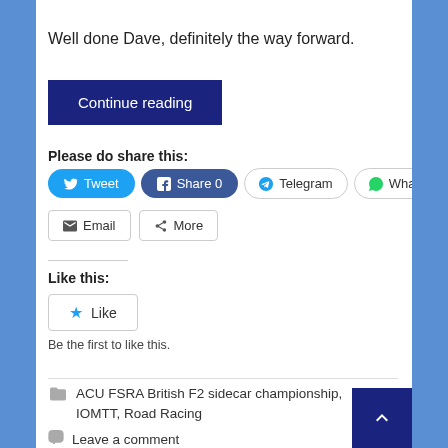Well done Dave, definitely the way forward.
Continue reading
Please do share this:
Tweet | Share 0 | Telegram | WhatsApp | Email | More
Like this:
Like
Be the first to like this.
ACU FSRA British F2 sidecar championship, IOMTT, Road Racing
Leave a comment